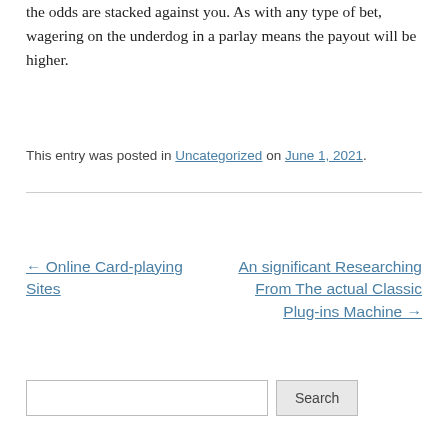You would certainly have to have lady luck on your side as the odds are stacked against you. As with any type of bet, wagering on the underdog in a parlay means the payout will be higher.
This entry was posted in Uncategorized on June 1, 2021.
← Online Card-playing Sites
An significant Researching From The actual Classic Plug-ins Machine →